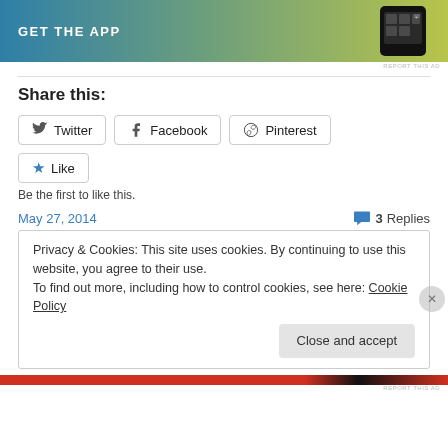[Figure (screenshot): GET THE APP banner advertisement with gradient blue-yellow background and phone image]
REPORT THIS AD
Share this:
Twitter
Facebook
Pinterest
Like
Be the first to like this.
May 27, 2014
3 Replies
Privacy & Cookies: This site uses cookies. By continuing to use this website, you agree to their use.
To find out more, including how to control cookies, see here: Cookie Policy
Close and accept